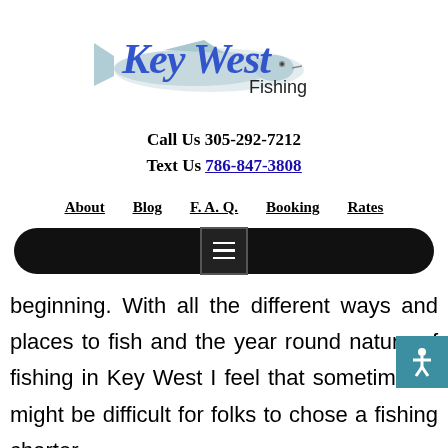[Figure (logo): Key West Fishing logo with stylized blue cursive text 'Key West' and a fish illustration, with 'Fishing' in black below]
Call Us 305-292-7212
Text Us 786-847-3808
About   Blog   F.A.Q.   Booking   Rates
[Figure (screenshot): Black rounded navigation bar with a hamburger menu icon in the center]
beginning. With all the different ways and places to fish and the year round nature of fishing in Key West I feel that sometimes it might be difficult for folks to chose a fishing charter